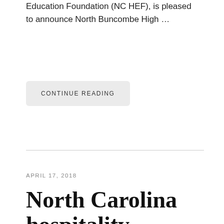Education Foundation (NC HEF), is pleased to announce North Buncombe High …
CONTINUE READING
APRIL 17, 2018
North Carolina hospitality industry